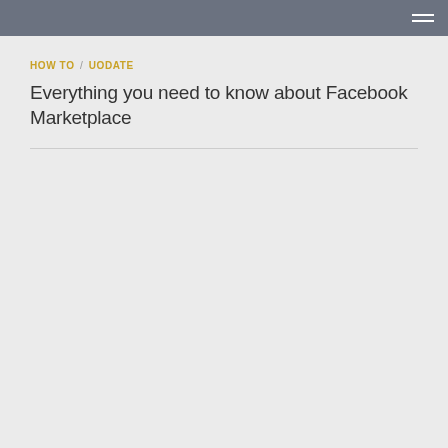HOW TO / UODATE — navigation breadcrumb header bar
HOW TO / UODATE
Everything you need to know about Facebook Marketplace